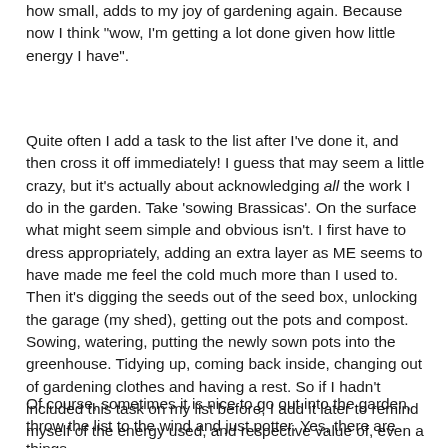how small, adds to my joy of gardening again. Because now I think "wow, I'm getting a lot done given how little energy I have".
Quite often I add a task to the list after I've done it, and then cross it off immediately! I guess that may seem a little crazy, but it's actually about acknowledging all the work I do in the garden. Take 'sowing Brassicas'. On the surface what might seem simple and obvious isn't. I first have to dress appropriately, adding an extra layer as ME seems to have made me feel the cold much more than I used to. Then it's digging the seeds out of the seed box, unlocking the garage (my shed), getting out the pots and compost. Sowing, watering, putting the newly sown pots into the greenhouse. Tidying up, coming back inside, changing out of gardening clothes and having a rest. So if I hadn't included this task on my list before, I add it later to remind myself of the energy used, and respective value of, even a simple kitchen garden task.
Of course, sometimes it is nice to go out into the garden, throw the list to the wind and just potter. Yes, there are things